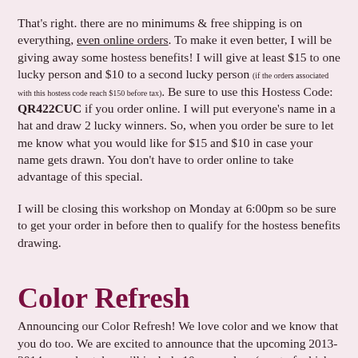That's right. there are no minimums & free shipping is on everything, even online orders. To make it even better, I will be giving away some hostess benefits! I will give at least $15 to one lucky person and $10 to a second lucky person (if the orders associated with this hostess code reach $150 before tax). Be sure to use this Hostess Code: QR422CUC if you order online. I will put everyone's name in a hat and draw 2 lucky winners. So, when you order be sure to let me know what you would like for $15 and $10 in case your name gets drawn. You don't have to order online to take advantage of this special.
I will be closing this workshop on Monday at 6:00pm so be sure to get your order in before then to qualify for the hostess benefits drawing.
Color Refresh
Announcing our Color Refresh! We love color and we know that you do too. We are excited to announce that the upcoming 2013-2014 annual catalog will include 10 new colors (most of which are